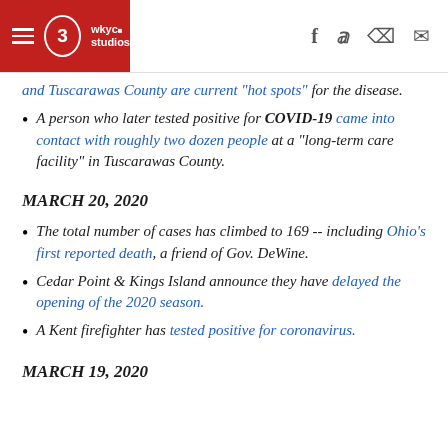3 WKYC Studios [hamburger menu, social icons: f, twitter, phone, mail]
and Tuscarawas County are current 'hot spots' for the disease.
A person who later tested positive for COVID-19 came into contact with roughly two dozen people at a "long-term care facility" in Tuscarawas County.
MARCH 20, 2020
The total number of cases has climbed to 169 -- including Ohio's first reported death, a friend of Gov. DeWine.
Cedar Point & Kings Island announce they have delayed the opening of the 2020 season.
A Kent firefighter has tested positive for coronavirus.
MARCH 19, 2020